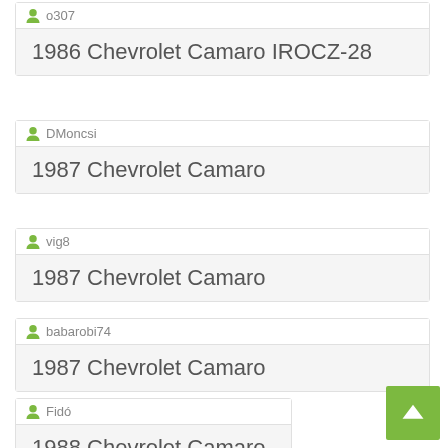o307 — 1986 Chevrolet Camaro IROCZ-28
DMoncsi — 1987 Chevrolet Camaro
vig8 — 1987 Chevrolet Camaro
babarobi74 — 1987 Chevrolet Camaro
Fidó — 1988 Chevrolet Camaro